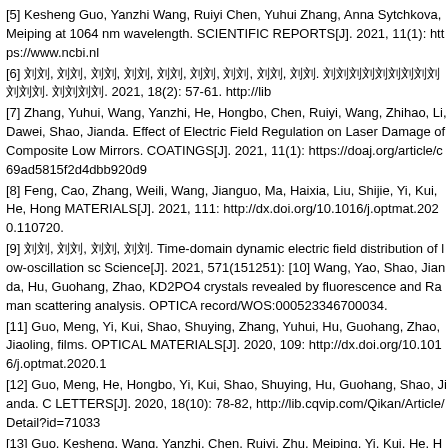[5] Kesheng Guo, Yanzhi Wang, Ruiyi Chen, Yuhui Zhang, Anna Sytchkova, Meiping at 1064 nm wavelength. SCIENTIFIC REPORTS[J]. 2021, 11(1): https://www.ncbi.nl
[6] 刘刘, 刘刘, 刘刘, 刘刘, 刘刘, 刘刘, 刘刘, 刘刘, 刘刘. 刘刘刘刘刘刘刘刘刘刘刘刘. 刘刘刘刘. 2021, 18(2): 57-61. http://lib
[7] Zhang, Yuhui, Wang, Yanzhi, He, Hongbo, Chen, Ruiyi, Wang, Zhihao, Li, Dawei, Shao, Jianda. Effect of Electric Field Regulation on Laser Damage of Composite Low Mirrors. COATINGS[J]. 2021, 11(1): https://doaj.org/article/c69ad5815f2d4dbb920d9
[8] Feng, Cao, Zhang, Weili, Wang, Jianguo, Ma, Haixia, Liu, Shijie, Yi, Kui, He, Hong MATERIALS[J]. 2021, 111: http://dx.doi.org/10.1016/j.optmat.2020.110720.
[9] 刘刘, 刘刘, 刘刘, 刘刘. Time-domain dynamic electric field distribution of low-oscillation sc Science[J]. 2021, 571(151251): [10] Wang, Yao, Shao, Jianda, Hu, Guohang, Zhao, KD2PO4 crystals revealed by fluorescence and Raman scattering analysis. OPTICA record/WOS:000523346700034.
[11] Guo, Meng, Yi, Kui, Shao, Shuying, Zhang, Yuhui, Hu, Guohang, Zhao, Jiaoling, films. OPTICAL MATERIALS[J]. 2020, 109: http://dx.doi.org/10.1016/j.optmat.2020.1
[12] Guo, Meng, He, Hongbo, Yi, Kui, Shao, Shuying, Hu, Guohang, Shao, Jianda. C LETTERS[J]. 2020, 18(10): 78-82, http://lib.cqvip.com/Qikan/Article/Detail?id=71033
[13] Guo, Kesheng, Wang, Yanzhi, Chen, Ruiyi, Zhu, Meiping, Yi, Kui, He, Hongbo, S damage properties of antireflection coatings at 355 nm. OPTICAL MATERIALS[J]. 20
[14] Sun Yong, Kong Fanyu, Jin Yunxia, Wang Yonglu, Zhang Yibin, Cao Hongchao, on Lithium Triborate. TENTH INTERNATIONAL CONFERENCE ON THIN FILM PHY Dongbing, Chen, Junming, Xu, Jiao, Dai, Huifang, Zhao, Jingyin, Kong, Fanyu, He, H OPTICS[J]. 2019, 58(10): 2500-2504, [16] 刘刘, 刘刘, 刘刘, 刘刘, 刘刘, 刘刘. Transient optical pro
[J]. 2019, 17(5): 57-61. http://lib.cqvip.com/Qikan/Article/Detail?id=7002260968